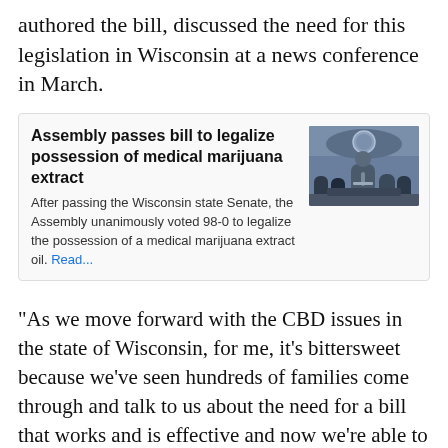authored the bill, discussed the need for this legislation in Wisconsin at a news conference in March.
[Figure (screenshot): News article infobox: 'Assembly passes bill to legalize possession of medical marijuana extract'. Text: After passing the Wisconsin state Senate, the Assembly unanimously voted 98-0 to legalize the possession of a medical marijuana extract oil. Read... Photo of a press conference.]
“As we move forward with the CBD issues in the state of Wisconsin, for me, it’s bittersweet because we’ve seen hundreds of families come through and talk to us about the need for a bill that works and is effective and now we’re able to deliver,” Krug said.
The legislation includes a 30-day provision to help avoid problems with the U.S. Drug Enforcement Agency’s classification of CBD oil as a Schedule 1 drug.